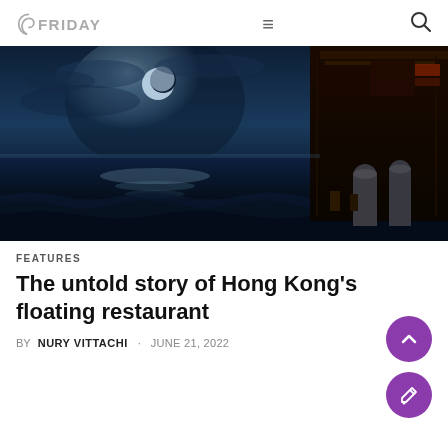FRIDAY
[Figure (photo): Dark moody photo of a building/restaurant structure at the waterfront at night, with ocean waves crashing and moonlit sky]
FEATURES
The untold story of Hong Kong's floating restaurant
BY NURY VITTACHI   JUNE 21, 2022